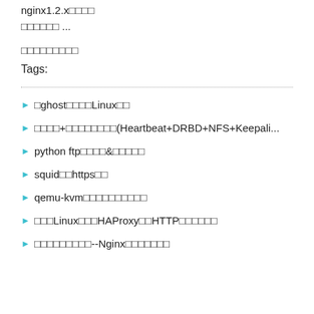nginx1.2.x□□□□
□□□□□□ ...
□□□□□□□□□
Tags:
□ghost□□□□□Linux□□
□□□□+□□□□□□□□(Heartbeat+DRBD+NFS+Keepali...
python ftp□□□□&□□□□□
squid□□https□□
qemu-kvm□□□□□□□□□□
□□□Linux□□□HAProxy□□HTTP□□□□□□
□□□□□□□□□--Nginx□□□□□□□